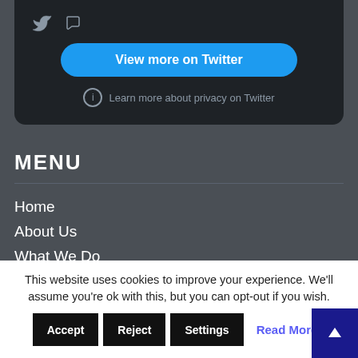[Figure (screenshot): Twitter embedded card with 'View more on Twitter' button and 'Learn more about privacy on Twitter' link on dark background]
MENU
Home
About Us
What We Do
What We Have Done
Intelligence
This website uses cookies to improve your experience. We'll assume you're ok with this, but you can opt-out if you wish.
Accept  Reject  Settings  Read More